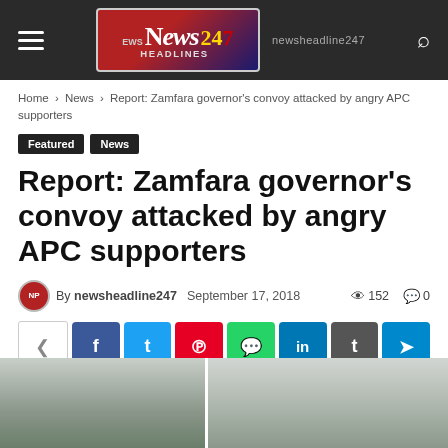News Headlines 24/7 — newsheadline247
Home › News › Report: Zamfara governor's convoy attacked by angry APC supporters
Featured
News
Report: Zamfara governor's convoy attacked by angry APC supporters
By newsheadline247   September 17, 2018   👁 152   💬 0
[Figure (screenshot): Social share buttons: share, Facebook, Twitter, Pinterest, WhatsApp, LinkedIn, Tumblr, Telegram]
[Figure (photo): Photo showing people at a scene, partially visible at bottom of page]